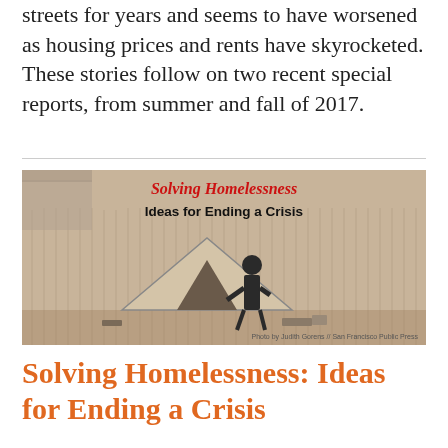streets for years and seems to have worsened as housing prices and rents have skyrocketed. These stories follow on two recent special reports, from summer and fall of 2017.
[Figure (photo): Sepia-toned photograph of a person standing next to a makeshift tent shelter against a corrugated metal fence, with debris on the ground. Overlaid text reads 'Solving Homelessness' in red bold serif and 'Ideas for Ending a Crisis' in black bold sans-serif. Photo credit text at bottom right.]
Solving Homelessness: Ideas for Ending a Crisis